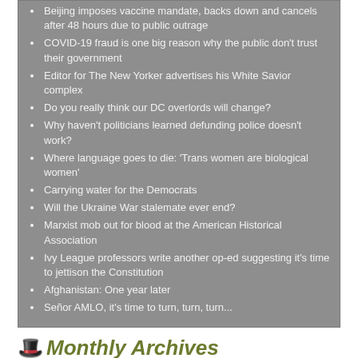Beijing imposes vaccine mandate, backs down and cancels after 48 hours due to public outrage
COVID-19 fraud is one big reason why the public don’t trust their government
Editor for The New Yorker advertises his White Savior complex
Do you really think our DC overlords will change?
Why haven’t politicians learned defunding police doesn’t work?
Where language goes to die: ‘Trans women are biological women’
Carrying water for the Democrats
Will the Ukraine War stalemate ever end?
Marxist mob out for blood at the American Historical Association
Ivy League professors write another op-ed suggesting it’s time to jettison the Constitution
Afghanistan: One year later
Señor AMLO, it’s time to turn, turn, turn...
🎩 Monthly Archives
August 2022
July 2022